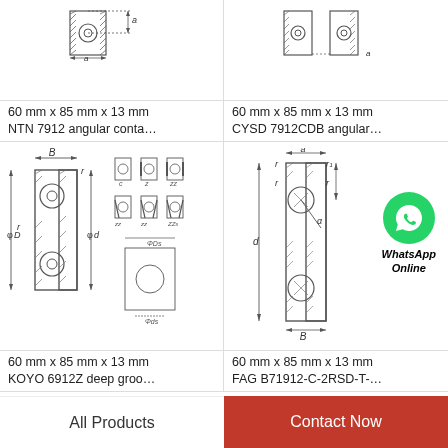[Figure (engineering-diagram): Cross-section diagram of NTN 7912 angular contact ball bearing showing dimension 'a']
60 mm x 85 mm x 13 mm
NTN 7912 angular conta…
[Figure (engineering-diagram): Cross-section diagram of CYSD 7912CDB angular contact ball bearing showing dimension 'a']
60 mm x 85 mm x 13 mm
CYSD 7912CDB angular…
[Figure (engineering-diagram): Cross-section and shield variant diagrams of KOYO 6912Z deep groove ball bearing showing dimensions B, r, D, d]
60 mm x 85 mm x 13 mm
KOYO 6912Z deep groo…
[Figure (engineering-diagram): Cross-section diagram of FAG B71912-C-2RSD-T angular contact ball bearing showing dimensions a, r, r1, f, d, B, with WhatsApp Online overlay]
60 mm x 85 mm x 13 mm
FAG B71912-C-2RSD-T-…
All Products
Contact Now